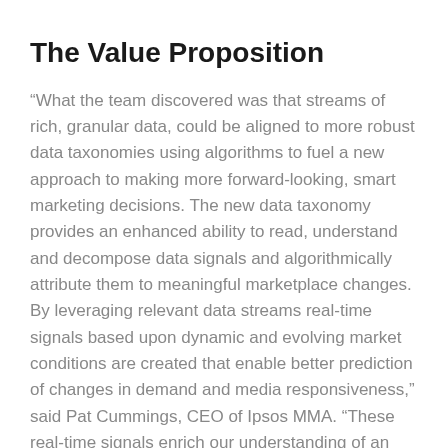The Value Proposition
“What the team discovered was that streams of rich, granular data, could be aligned to more robust data taxonomies using algorithms to fuel a new approach to making more forward-looking, smart marketing decisions. The new data taxonomy provides an enhanced ability to read, understand and decompose data signals and algorithmically attribute them to meaningful marketplace changes. By leveraging relevant data streams real-time signals based upon dynamic and evolving market conditions are created that enable better prediction of changes in demand and media responsiveness,” said Pat Cummings, CEO of Ipsos MMA. “These real-time signals enrich our understanding of an evolving marketplace across customer segments, sales channels and by geographies, and can be applied on a global scale based upon data availability. The “demand